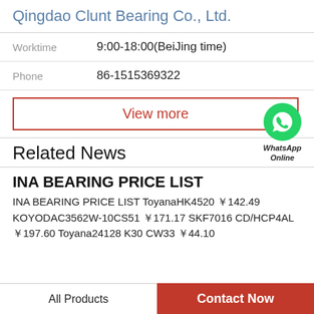Qingdao Clunt Bearing Co., Ltd.
Worktime   9:00-18:00(BeiJing time)
Phone   86-1515369322
View more
[Figure (logo): WhatsApp green phone icon with text 'WhatsApp Online']
Related News
INA BEARING PRICE LIST
INA BEARING PRICE LIST ToyanaHK4520 ￥142.49 KOYODAC3562W-10CS51 ￥171.17 SKF7016 CD/HCP4AL ￥197.60 Toyana24128 K30 CW33 ￥44.10
All Products
Contact Now